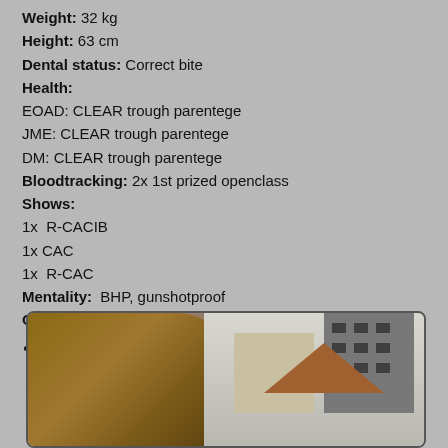Weight: 32 kg
Height: 63 cm
Dental status: Correct bite
Health:
EOAD: CLEAR trough parentege
JME: CLEAR trough parentege
DM: CLEAR trough parentege
Bloodtracking: 2x 1st prized openclass
Shows:
1x  R-CACIB
1x CAC
1x  R-CAC
Mentality:  BHP, gunshotproof
Owner:  Mats Trollvad & Sara Johansson
More photos of Segra HERE.
[Figure (photo): Photo of a dog (reddish-brown, possibly a Labrador or similar breed) in the foreground on the left, with buildings in the background on the right side.]